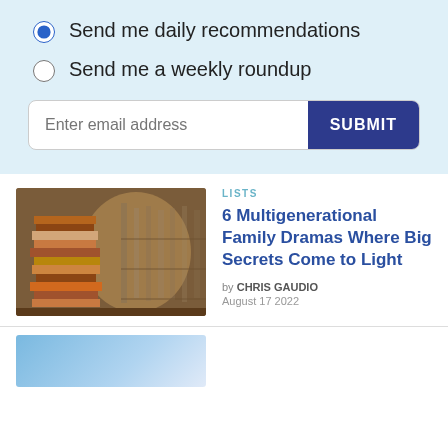Send me daily recommendations
Send me a weekly roundup
Enter email address
SUBMIT
[Figure (photo): Stack of books in a library aisle with blurred bookshelves in background]
LISTS
6 Multigenerational Family Dramas Where Big Secrets Come to Light
by CHRIS GAUDIO
August 17 2022
[Figure (photo): Partial view of a light blue sky image]